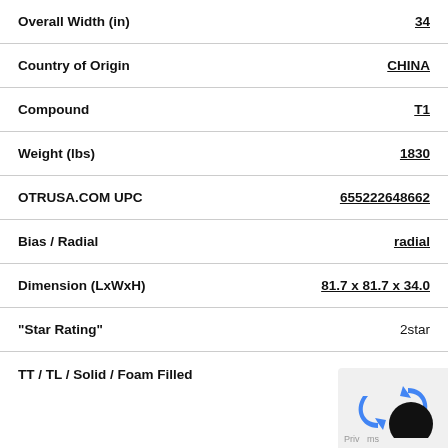| Attribute | Value |
| --- | --- |
| Overall Width (in) | 34 |
| Country of Origin | CHINA |
| Compound | T1 |
| Weight (lbs) | 1830 |
| OTRUSA.COM UPC | 655222648662 |
| Bias / Radial | radial |
| Dimension (LxWxH) | 81.7 x 81.7 x 34.0 |
| "Star Rating" | 2star |
| TT / TL / Solid / Foam Filled |  |